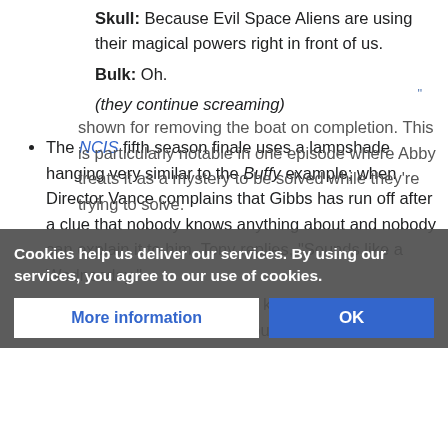Skull: Because Evil Space Aliens are using their magical powers right in front of us.
Bulk: Oh.
(they continue screaming)
The NCIS fifth season finale uses a lampshade hanging very similar to the Buffy example; when Director Vance complains that Gibbs has run off after a clue that nobody knows anything about and nobody can explain it to him, Tony replies, "Sounds like a Wednesday."
Additionally, Gibbs has a known habit of building boats in his basements but no method is ever shown for removing the boat on completion. This is particularly notable in one episode where Abby treats it as a mystery to be solved while they're trying to solve.
Cookies help us deliver our services. By using our services, you agree to our use of cookies.